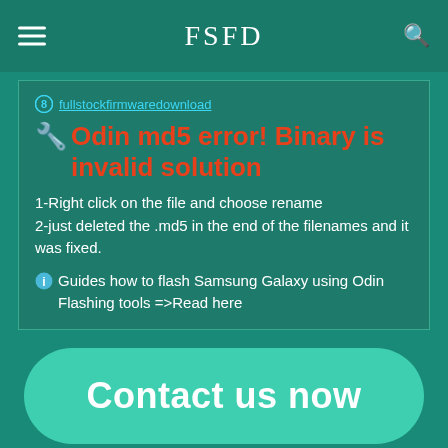FSFD
fullstockfirmwaredownload
🔧 Odin md5 error! Binary is invalid solution
1-Right click on the file and choose rename
2-just deleted the .md5 in the end of the filenames and it was fixed.
ℹ Guides how to flash Samsung Galaxy using Odin Flashing tools =>Read here
Contact us now